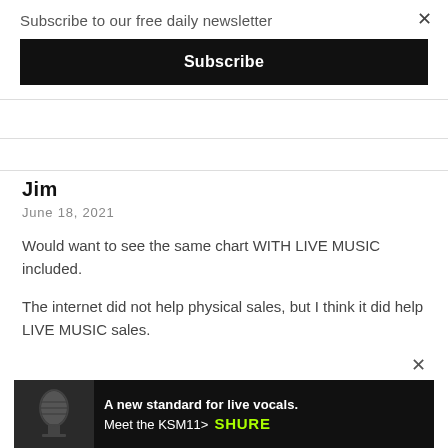Subscribe to our free daily newsletter
Subscribe
Jim
June 18, 2021
Would want to see the same chart WITH LIVE MUSIC included.
The internet did not help physical sales, but I think it did help LIVE MUSIC sales.
[Figure (photo): Advertisement banner for Shure KSM11 microphone showing a close-up of a microphone on a black background with text 'A new standard for live vocals. Meet the KSM11>' and the Shure logo in green.]